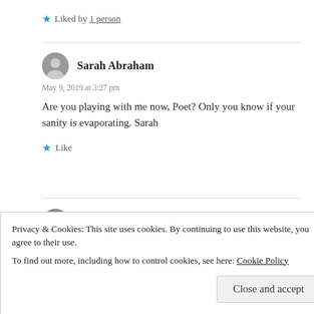★ Liked by 1 person
Sarah Abraham
May 9, 2019 at 3:27 pm
Are you playing with me now, Poet? Only you know if your sanity is evaporating. Sarah
★ Like
Watt ✏
Privacy & Cookies: This site uses cookies. By continuing to use this website, you agree to their use.
To find out more, including how to control cookies, see here: Cookie Policy
Close and accept